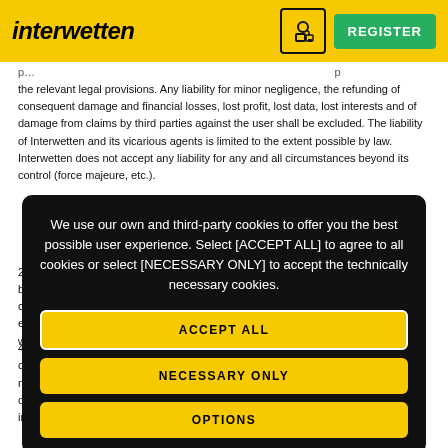interwetten | REGISTER
the relevant legal provisions. Any liability for minor negligence, the refunding of consequent damage and financial losses, lost profit, lost data, lost interests and of damage from claims by third parties against the user shall be excluded. The liability of Interwetten and its vicarious agents is limited to the extent possible by law. Interwetten does not accept any liability for any and all circumstances beyond its control (force majeure, etc.).
2. [partially obscured by cookie overlay]
We use our own and third-party cookies to offer you the best possible user experience. Select [ACCEPT ALL] to agree to all cookies or select [NECESSARY ONLY] to accept the technically necessary cookies.
ACCEPT ALL
NECESSARY ONLY
OPTIONS
3. [partially obscured]
4. [partially obscured]
contents of the information services, including, but not limited to the result notifications delivered via email and SMS. Likewise, all data in the live scores, statistics and intermediary